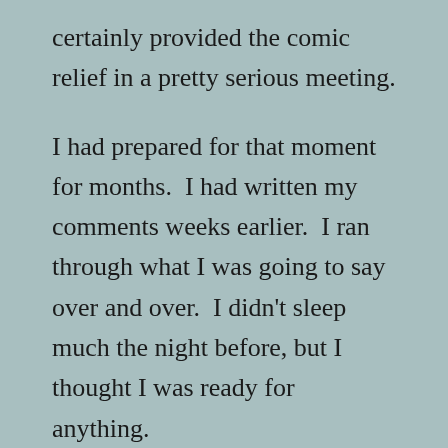certainly provided the comic relief in a pretty serious meeting.
I had prepared for that moment for months.  I had written my comments weeks earlier.  I ran through what I was going to say over and over.  I didn't sleep much the night before, but I thought I was ready for anything.
And then, when the moment came, I tripped up.  I got too excited and jumped right over protocols (and the Board of Education) and into my speech.  Everyone laughed.